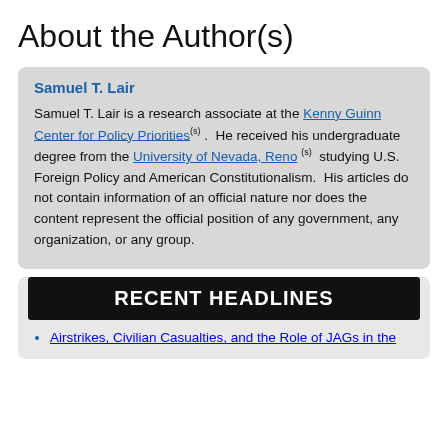About the Author(s)
Samuel T. Lair

Samuel T. Lair is a research associate at the Kenny Guinn Center for Policy Priorities. He received his undergraduate degree from the University of Nevada, Reno studying U.S. Foreign Policy and American Constitutionalism. His articles do not contain information of an official nature nor does the content represent the official position of any government, any organization, or any group.
RECENT HEADLINES
Airstrikes, Civilian Casualties, and the Role of JAGs in the